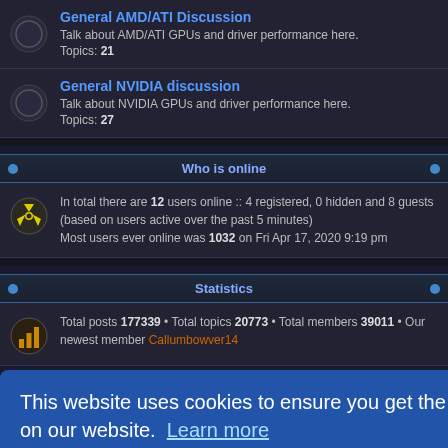General AMD/ATI Discussion
Talk about AMD/ATI GPUs and driver performance here.
Topics: 21
General NVIDIA discussion
Talk about NVIDIA GPUs and driver performance here.
Topics: 27
Who is online
In total there are 12 users online :: 4 registered, 0 hidden and 8 guests (based on users active over the past 5 minutes)
Most users ever online was 1032 on Fri Apr 17, 2020 9:19 pm
Statistics
Total posts 177339 • Total topics 20773 • Total members 39011 • Our newest member Callumbowver14
This website uses cookies to ensure you get the best experience on our website. Learn more
Got it!
I forgot my password   Remember me   Login